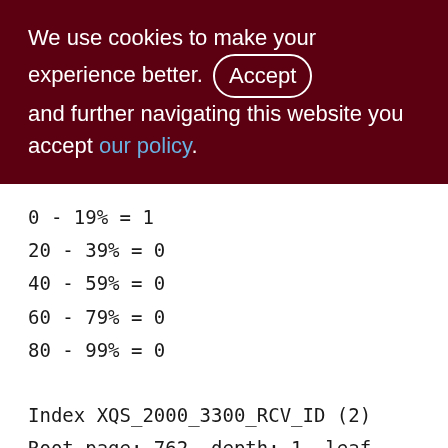We use cookies to make your experience better. By accepting and further navigating this website you accept our policy.
0 - 19% = 1
20 - 39% = 0
40 - 59% = 0
60 - 79% = 0
80 - 99% = 0
Index XQS_2000_3300_RCV_ID (2)
Root page: 762, depth: 1, leaf buckets: 1, nodes: 0
Average node length: 0.00, total dup: -, max dup: 0
Average key length: 0.00, compression